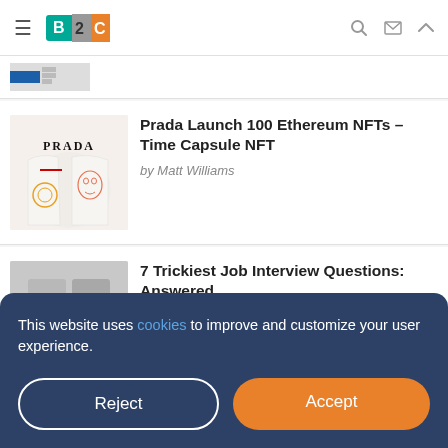B2C — Business 2 Community
[Figure (screenshot): Partial article thumbnail visible at top]
Prada Launch 100 Ethereum NFTs – Time Capsule NFT
by Matt Williams
[Figure (photo): Prada branded shirts thumbnail]
7 Trickiest Job Interview Questions: Answered.
by Alan Draper
[Figure (photo): Placeholder image thumbnail for job interview article]
This website uses cookies to improve and customize your user experience.